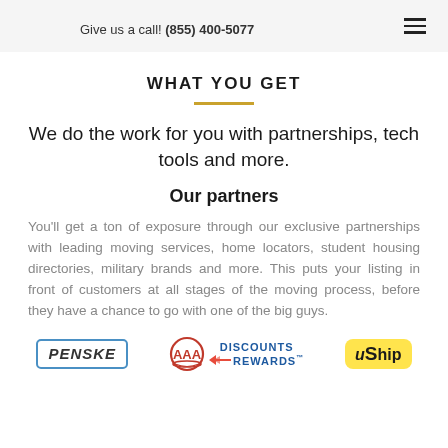Give us a call! (855) 400-5077
WHAT YOU GET
We do the work for you with partnerships, tech tools and more.
Our partners
You'll get a ton of exposure through our exclusive partnerships with leading moving services, home locators, student housing directories, military brands and more. This puts your listing in front of customers at all stages of the moving process, before they have a chance to go with one of the big guys.
[Figure (logo): Partner logos: Penske, AAA Discounts & Rewards, uShip]